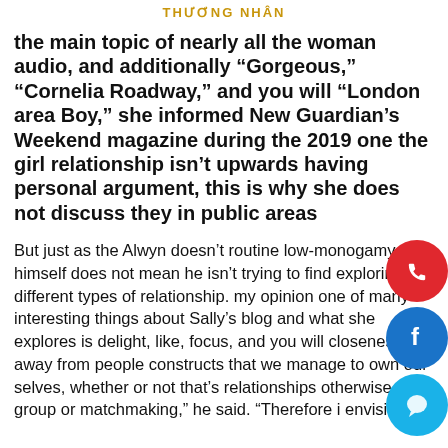THƯƠNG NHÂN
the main topic of nearly all the woman audio, and additionally “Gorgeous,” “Cornelia Roadway,” and you will “London area Boy,” she informed New Guardian’s Weekend magazine during the 2019 one the girl relationship isn’t upwards having personal argument, this is why she does not discuss they in public areas
But just as the Alwyn doesn’t routine low-monogamy himself does not mean he isn’t trying to find exploring all different types of relationship. my opinion one of many interesting things about Sally’s blog and what she explores is delight, like, focus, and you will closeness away from people constructs that we manage to own our selves, whether or not that’s relationships otherwise group or matchmaking,” he said. “Therefore i envision